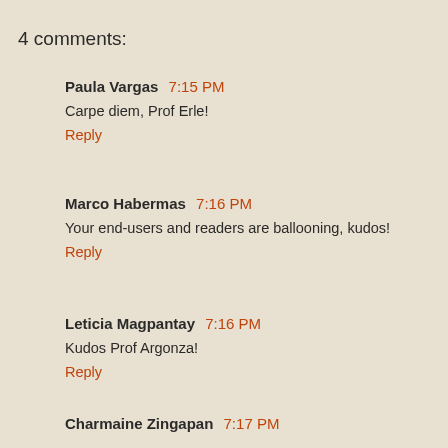4 comments:
Paula Vargas  7:15 PM
Carpe diem, Prof Erle!
Reply
Marco Habermas  7:16 PM
Your end-users and readers are ballooning, kudos!
Reply
Leticia Magpantay  7:16 PM
Kudos Prof Argonza!
Reply
Charmaine Zingapan  7:17 PM